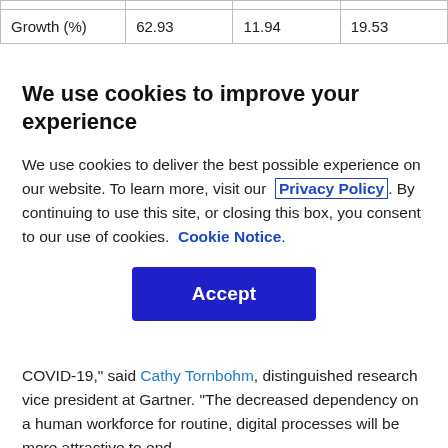|  |  |  |  |
| --- | --- | --- | --- |
| Growth (%) | 62.93 | 11.94 | 19.53 |
We use cookies to improve your experience
We use cookies to deliver the best possible experience on our website. To learn more, visit our Privacy Policy. By continuing to use this site, or closing this box, you consent to our use of cookies. Cookie Notice.
COVID-19," said Cathy Tornbohm, distinguished research vice president at Gartner. "The decreased dependency on a human workforce for routine, digital processes will be more attractive to end